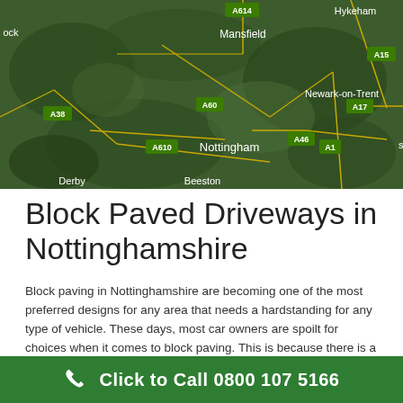[Figure (map): Satellite aerial map of Nottinghamshire, UK, showing cities and road labels including Mansfield, Nottingham, Newark-on-Trent, Derby, Beeston, Hykeham and road labels A614, A15, A38, A60, A610, A46, A1, A17]
Block Paved Driveways in Nottinghamshire
Block paving in Nottinghamshire are becoming one of the most preferred designs for any area that needs a hardstanding for any type of vehicle. These days, most car owners are spoilt for choices when it comes to block paving. This is because there is a wide array of designs, colours of the pavers blocks to select from to suit your taste and preference not to forget
Click to Call 0800 107 5166